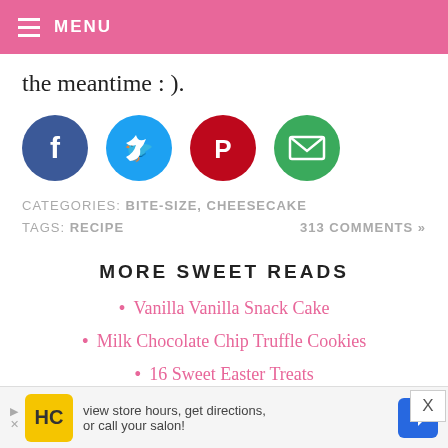MENU
the meantime : ).
[Figure (infographic): Four social media sharing buttons: Facebook (dark blue), Twitter (light blue), Pinterest (red), Email (green), each as circles with white icons.]
CATEGORIES: BITE-SIZE, CHEESECAKE    313 COMMENTS »
TAGS: RECIPE
MORE SWEET READS
Vanilla Vanilla Snack Cake
Milk Chocolate Chip Truffle Cookies
16 Sweet Easter Treats
[Figure (screenshot): Advertisement banner with HC logo, text 'view store hours, get directions, or call your salon!' and a blue navigation arrow icon.]